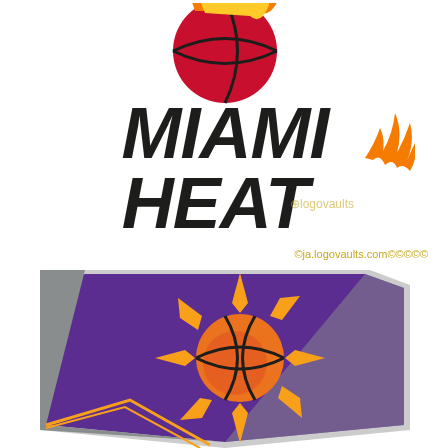[Figure (logo): Miami Heat NBA team logo — red/black flaming basketball above bold italic black text reading MIAMI HEAT with a flame on the T]
©ja.logovaults.com©©©©©
[Figure (logo): Phoenix Suns NBA team logo — purple shield shape with orange/gold sun basketball in the center, gray border]